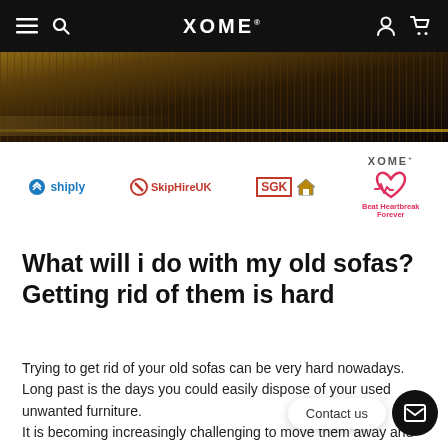XOME® navigation bar
[Figure (photo): Hero image strip showing close-up of railway track / dark brown textured surface]
[Figure (logo): Sponsor logos row: shiply, SkipHireUK, SGK (with house icon), XOME®, Beat Heartbreak Forever (heart logo)]
What will i do with my old sofas? Getting rid of them is hard
Trying to get rid of your old sofas can be very hard nowadays. Long past is the days you could easily dispose of your used unwanted furniture.
It is becoming increasingly challenging to move them away and we know that. We can help you decide! T... options but we present to you the best we have.